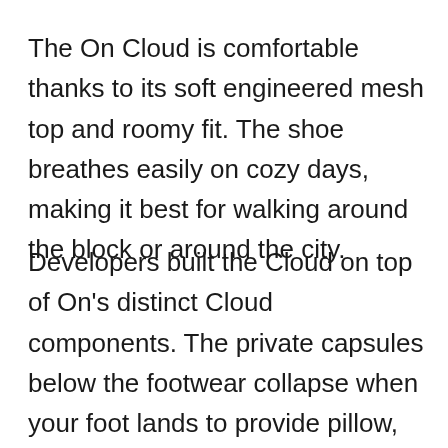The On Cloud is comfortable thanks to its soft engineered mesh top and roomy fit. The shoe breathes easily on cozy days, making it best for walking around the block or around the city.
Developers built the Cloud on top of On's distinct Cloud components. The private capsules below the footwear collapse when your foot lands to provide pillow, as well as they bounce back into shape for a